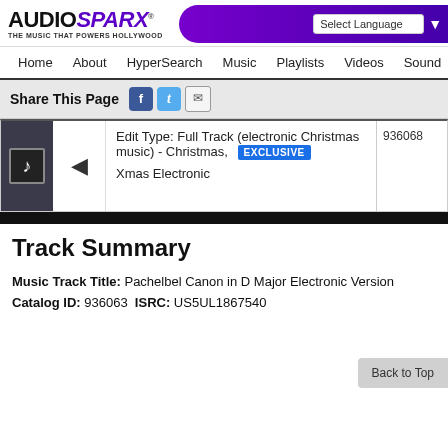AUDIOSPARX - THE MUSIC THAT POWERS HOLLYWOOD
Navigation: Home About HyperSearch Music Playlists Videos Sound
Share This Page
Edit Type: Full Track (electronic Christmas music) - Christmas, EXCLUSIVE 936068 Xmas Electronic
Track Summary
Music Track Title: Pachelbel Canon in D Major Electronic Version
Catalog ID: 936063  ISRC: US5UL1867540